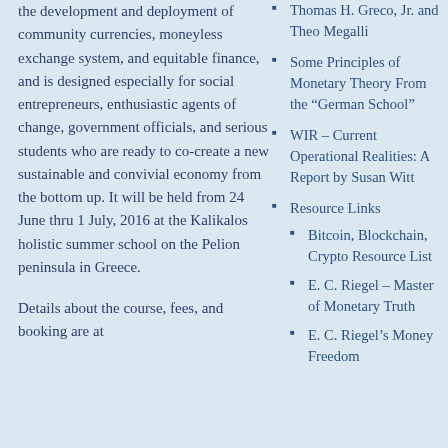the development and deployment of community currencies, moneyless exchange system, and equitable finance, and is designed especially for social entrepreneurs, enthusiastic agents of change, government officials, and serious students who are ready to co-create a new sustainable and convivial economy from the bottom up. It will be held from 24 June thru 1 July, 2016 at the Kalikalos holistic summer school on the Pelion peninsula in Greece.
Details about the course, fees, and booking are at
Thomas H. Greco, Jr. and Theo Megalli
Some Principles of Monetary Theory From the “German School”
WIR – Current Operational Realities: A Report by Susan Witt
Resource Links
Bitcoin, Blockchain, Crypto Resource List
E. C. Riegel – Master of Monetary Truth
E. C. Riegel’s Money Freedom